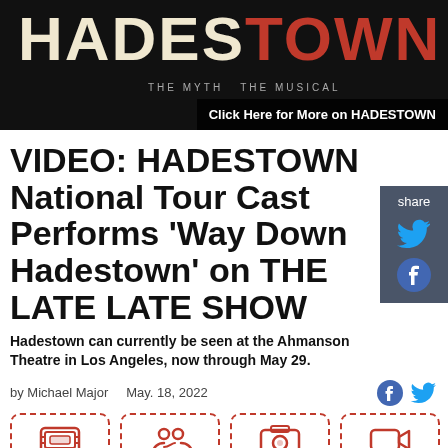[Figure (photo): Hadestown musical banner with dark background, title in cream/red letters, subtitle 'THE MYTH THE MUSICAL', and a CTA button 'Click Here for More on HADESTOWN']
VIDEO: HADESTOWN National Tour Cast Performs 'Way Down Hadestown' on THE LATE LATE SHOW
Hadestown can currently be seen at the Ahmanson Theatre in Los Angeles, now through May 29.
by Michael Major   May. 18, 2022
[Figure (infographic): Four navigation icon boxes with dashed red borders: Tickets, Cast, Photos, Videos]
Last night, the national tour cast of Hadestown appeared on the Late Late Show with James